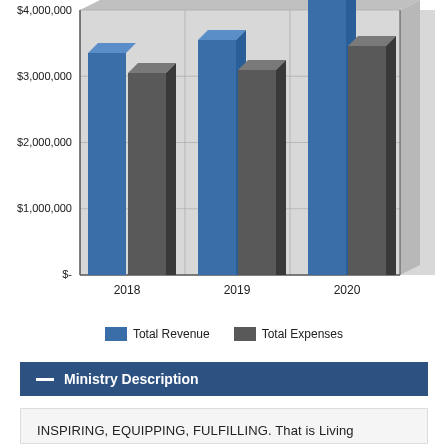[Figure (grouped-bar-chart): Total Revenue and Total Expenses by Year]
Ministry Description
INSPIRING, EQUIPPING, FULFILLING. That is Living